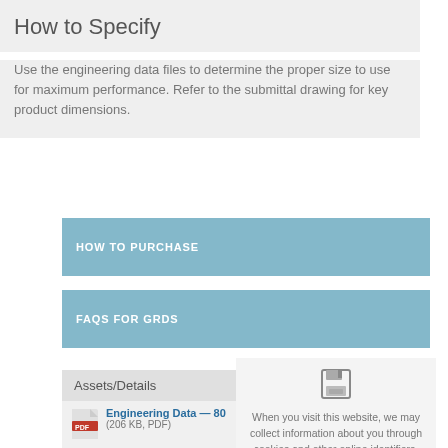How to Specify
Use the engineering data files to determine the proper size to use for maximum performance. Refer to the submittal drawing for key product dimensions.
HOW TO PURCHASE
FAQS FOR GRDS
Assets/Details
Engineering Data — 80 (206 KB, PDF)
Submittal Data — 800 (68 KB, PDF)
When you visit this website, we may collect information about you through cookies and other online identifiers. View our Privacy Policy for more information.
Okay